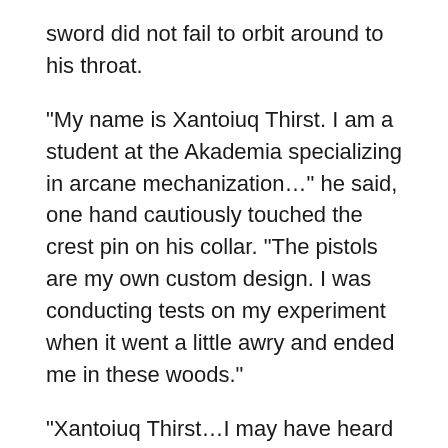sword did not fail to orbit around to his throat.
“My name is Xantoiuq Thirst. I am a student at the Akademia specializing in arcane mechanization…” he said, one hand cautiously touched the crest pin on his collar. “The pistols are my own custom design. I was conducting tests on my experiment when it went a little awry and ended me in these woods.”
“Xantoiuq Thirst…I may have heard of you.” The sword was lowered. “You won the Flint-Strike Marksman Cup once, when was that again?”
The question was casual, the test evident.
“The year before last, I have moved on to focus on more docile activities since then.”